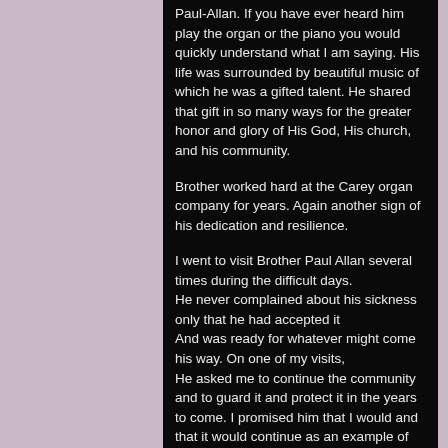Paul-Allan. If you have ever heard him play the organ or the piano you would quickly understand what I am saying. His life was surrounded by beautiful music of which he was a gifted talent. He shared that gift in so many ways for the greater honor and glory of His God, His church, and his community.

Brother worked hard at the Carey organ company for years. Again another sign of his dedication and resilience.

I went to visit Brother Paul Allan several times during the difficult days.
He never complained about his sickness only that he had accepted it
And was ready for whatever might come his way. On one of my visits,
He asked me to continue the community and to guard it and protect it in the years to come. I promised him that I would and that it would continue as an example of great love for the Gospel, the church, our brothers and Holy Father Francis. He was at peace. He assured me he had done all that he could do and needed me to continue the jou...